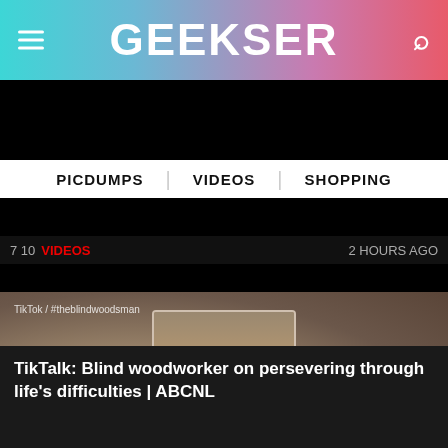GEEKSER
PICDUMPS | VIDEOS | SHOPPING
7 10  VIDEOS  2 HOURS AGO
[Figure (screenshot): Screenshot of Geekser website showing an ABC News video thumbnail. A bearded man with eyes closed sits at a wooden table with a TikTok watermark reading 'TikTok / #theblindwoodsman'. A play button circle is overlaid on the portrait-orientation video frame. ABC NEWS logo appears in bottom-left of the video area.]
TikTalk: Blind woodworker on persevering through life's difficulties | ABCNL